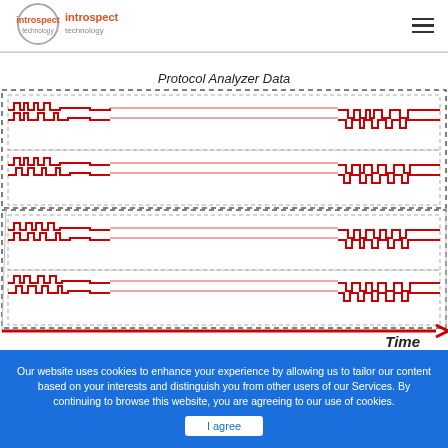[Figure (logo): Introspect Technology logo - circle with 'introspect technology' text in orange and gray]
[Figure (schematic): Protocol Analyzer Data diagram showing four rows of digital signal waveforms (red square waves) on left and right sides connected by horizontal red lines, enclosed in dashed rectangles, with a time axis arrow at bottom labeled 'Time']
Our website uses cookies to enhance your experience by allowing us to tailor our content based on your interests and distinguish you from other users of our Services. By continuing to browse this website, you are agreeing to our use of cookies.
I agree